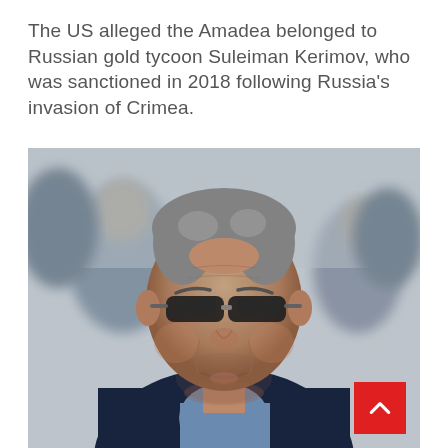The US alleged the Amadea belonged to Russian gold tycoon Suleiman Kerimov, who was sanctioned in 2018 following Russia's invasion of Crimea.
[Figure (photo): Close-up photo of a middle-aged man with grey hair wearing dark sunglasses and a navy blue suit jacket with a light blue shirt. Background is blurred showing other people outdoors.]